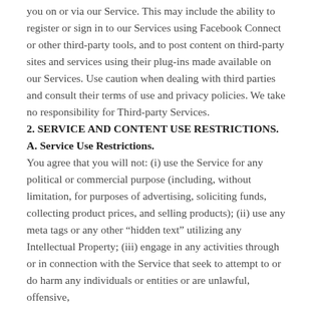you on or via our Service. This may include the ability to register or sign in to our Services using Facebook Connect or other third-party tools, and to post content on third-party sites and services using their plug-ins made available on our Services. Use caution when dealing with third parties and consult their terms of use and privacy policies. We take no responsibility for Third-party Services.
2. SERVICE AND CONTENT USE RESTRICTIONS.
A. Service Use Restrictions.
You agree that you will not: (i) use the Service for any political or commercial purpose (including, without limitation, for purposes of advertising, soliciting funds, collecting product prices, and selling products); (ii) use any meta tags or any other “hidden text” utilizing any Intellectual Property; (iii) engage in any activities through or in connection with the Service that seek to attempt to or do harm any individuals or entities or are unlawful, offensive,